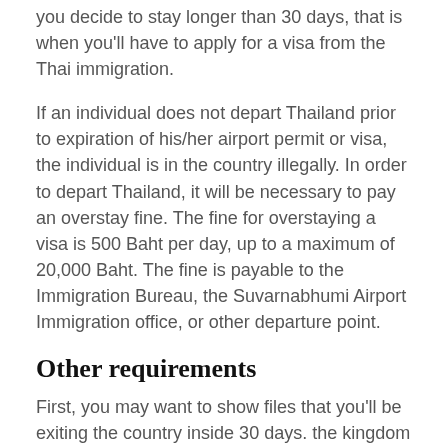you decide to stay longer than 30 days, that is when you'll have to apply for a visa from the Thai immigration.
If an individual does not depart Thailand prior to expiration of his/her airport permit or visa, the individual is in the country illegally. In order to depart Thailand, it will be necessary to pay an overstay fine. The fine for overstaying a visa is 500 Baht per day, up to a maximum of 20,000 Baht. The fine is payable to the Immigration Bureau, the Suvarnabhumi Airport Immigration office, or other departure point.
Other requirements
First, you may want to show files that you'll be exiting the country inside 30 days. the kingdom wishes evidence that you may no longer overstay beyond the 30-day limit so one can approve your entry. because of this you'll ought to present airline or train tickets that provide evidence that